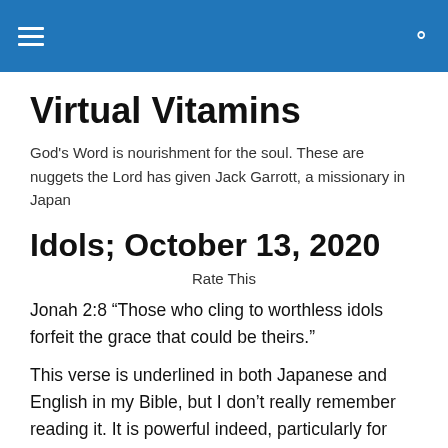Virtual Vitamins — navigation bar
Virtual Vitamins
God's Word is nourishment for the soul. These are nuggets the Lord has given Jack Garrott, a missionary in Japan
Idols; October 13, 2020
Rate This
Jonah 2:8 “Those who cling to worthless idols forfeit the grace that could be theirs.”
This verse is underlined in both Japanese and English in my Bible, but I don’t really remember reading it. It is powerful indeed, particularly for anyone in a country like